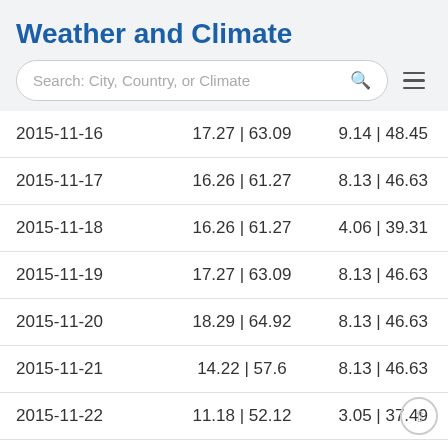Weather and Climate
| Date | Max Temp | Min Temp |
| --- | --- | --- |
| 2015-11-16 | 17.27 | 63.09 | 9.14 | 48.45 |
| 2015-11-17 | 16.26 | 61.27 | 8.13 | 46.63 |
| 2015-11-18 | 16.26 | 61.27 | 4.06 | 39.31 |
| 2015-11-19 | 17.27 | 63.09 | 8.13 | 46.63 |
| 2015-11-20 | 18.29 | 64.92 | 8.13 | 46.63 |
| 2015-11-21 | 14.22 | 57.6 | 8.13 | 46.63 |
| 2015-11-22 | 11.18 | 52.12 | 3.05 | 37.49 |